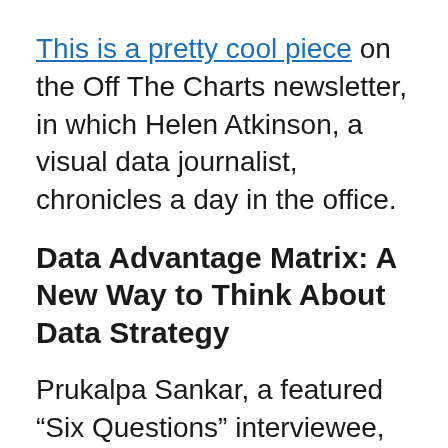This is a pretty cool piece on the Off The Charts newsletter, in which Helen Atkinson, a visual data journalist, chronicles a day in the office.
Data Advantage Matrix: A New Way to Think About Data Strategy
Prukalpa Sankar, a featured “Six Questions” interviewee, has written a new interesting article about the approach to creating data strategy. Here is a